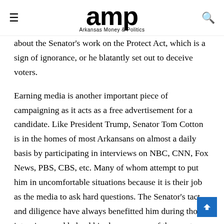amp — Arkansas Money & Politics
about the Senator's work on the Protect Act, which is a sign of ignorance, or he blatantly set out to deceive voters.
Earning media is another important piece of campaigning as it acts as a free advertisement for a candidate. Like President Trump, Senator Tom Cotton is in the homes of most Arkansans on almost a daily basis by participating in interviews on NBC, CNN, Fox News, PBS, CBS, etc. Many of whom attempt to put him in uncomfortable situations because it is their job as the media to ask hard questions. The Senator's tact and diligence have always benefitted him during those interviews and helped him become one of the most recognizable Conservatives in the country.